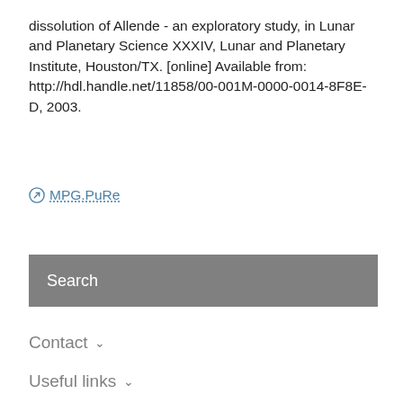dissolution of Allende - an exploratory study, in Lunar and Planetary Science XXXIV, Lunar and Planetary Institute, Houston/TX. [online] Available from: http://hdl.handle.net/11858/00-001M-0000-0014-8F8E-D, 2003.
MPG.PuRe
Search
Contact
Useful links